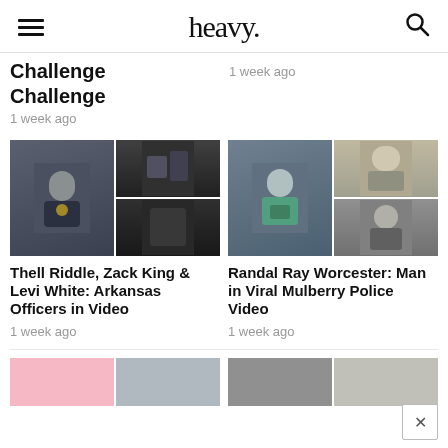heavy.
Challenge
1 week ago
1 week ago
[Figure (photo): Two photos: police officer in uniform on left; two action shots on right showing officers in confrontation]
Thell Riddle, Zack King & Levi White: Arkansas Officers in Video
1 week ago
[Figure (photo): Two photos of Randal Ray Worcester: man wearing cap with dogtag necklace on left; shirtless man taking mirror selfie on right]
Randal Ray Worcester: Man in Viral Mulberry Police Video
1 week ago
[Figure (photo): Bottom row of article thumbnails partially visible: pink/light image and car image on left card; dark and person image on right card]